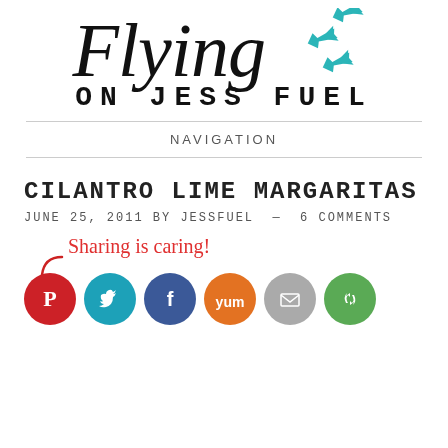Flying ON JESS FUEL
NAVIGATION
CILANTRO LIME MARGARITAS
JUNE 25, 2011 BY JESSFUEL — 6 COMMENTS
Sharing is caring!
[Figure (illustration): Social sharing icons row: Pinterest (red), Twitter (teal), Facebook (dark blue), Yummly (orange), Email (grey), Another share icon (green)]